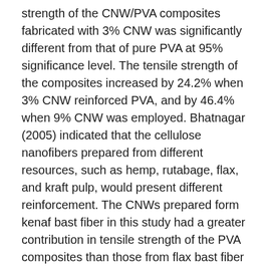strength of the CNW/PVA composites fabricated with 3% CNW was significantly different from that of pure PVA at 95% significance level. The tensile strength of the composites increased by 24.2% when 3% CNW reinforced PVA, and by 46.4% when 9% CNW was employed. Bhatnagar (2005) indicated that the cellulose nanofibers prepared from different resources, such as hemp, rutabage, flax, and kraft pulp, would present different reinforcement. The CNWs prepared form kenaf bast fiber in this study had a greater contribution in tensile strength of the PVA composites than those from flax bast fiber in Bhatnagar's (2005) study (10.2% improvement with 10 wt.% cellulose nanofiber addition in PVA composites). However, the CNWs from kenaf bast fiber provided less reinforcement than those from rutabage and hemp.